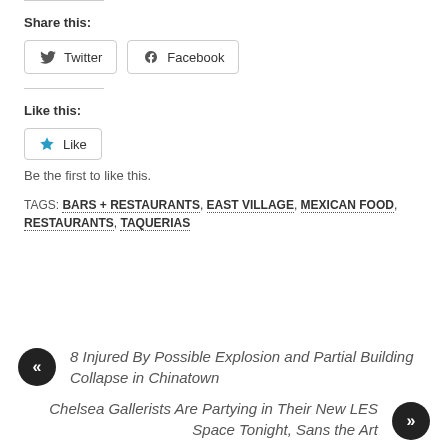Share this:
Twitter | Facebook (social share buttons)
Like this:
Like
Be the first to like this.
TAGS: BARS + RESTAURANTS, EAST VILLAGE, MEXICAN FOOD, RESTAURANTS, TAQUERIAS
« 8 Injured By Possible Explosion and Partial Building Collapse in Chinatown
Chelsea Gallerists Are Partying in Their New LES Space Tonight, Sans the Art »